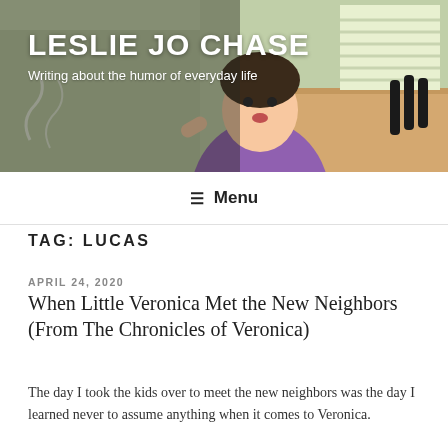LESLIE JO CHASE
Writing about the humor of everyday life
≡ Menu
TAG: LUCAS
APRIL 24, 2020
When Little Veronica Met the New Neighbors (From The Chronicles of Veronica)
The day I took the kids over to meet the new neighbors was the day I learned never to assume anything when it comes to Veronica.